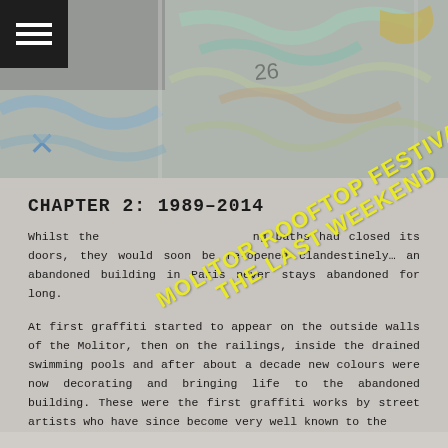[Figure (photo): Graffiti-covered walls and surfaces, appears to be an abandoned indoor swimming pool area with colorful street art on walls and ceiling]
CHAPTER 2: 1989–2014
[Figure (other): Yellow diagonal stamp text reading MOLITOR ROOFTOP FESTIVAL THE LAST WEEKEND overlaid on the page]
Whilst the Molitor swimming baths had closed its doors, they would soon be re-opened clandestinely... an abandoned building in Paris never stays abandoned for long.
At first graffiti started to appear on the outside walls of the Molitor, then on the railings, inside the drained swimming pools and after about a decade new colours were now decorating and bringing life to the abandoned building. These were the first graffiti works by street artists who have since become very well known to the